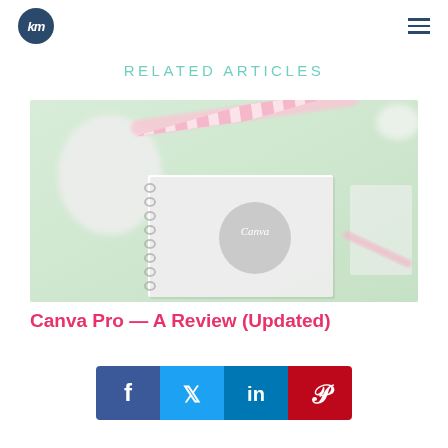logo and navigation
RELATED ARTICLES
[Figure (photo): Flat lay photo of a light green desk with a white mouse, pink and white striped straw/pencil, a spiral notebook showing the Canva logo, and a pink pencil on the right.]
Canva Pro — A Review (Updated)
[Figure (infographic): Social sharing bar with Facebook (blue), Twitter (light blue), LinkedIn (dark blue), and Pinterest (red) buttons showing their respective icons.]